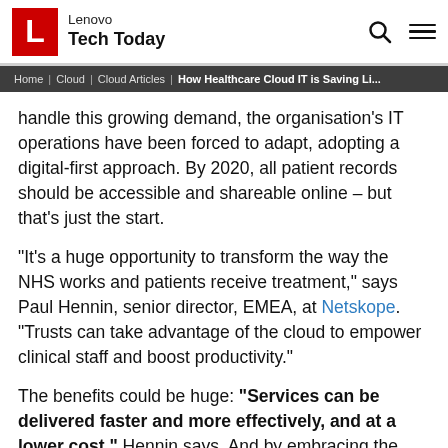Lenovo Tech Today
Home | Cloud | Cloud Articles | How Healthcare Cloud IT is Saving Li...
handle this growing demand, the organisation's IT operations have been forced to adapt, adopting a digital-first approach. By 2020, all patient records should be accessible and shareable online – but that's just the start.
“It’s a huge opportunity to transform the way the NHS works and patients receive treatment,” says Paul Hennin, senior director, EMEA, at Netskope. “Trusts can take advantage of the cloud to empower clinical staff and boost productivity.”
The benefits could be huge: “Services can be delivered faster and more effectively, and at a lower cost,” Hennin says. And by embracing the cloud, the NHS may be able to